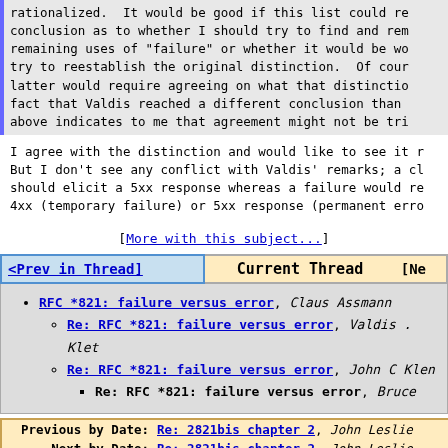rationalized. It would be good if this list could re conclusion as to whether I should try to find and rem remaining uses of "failure" or whether it would be wo try to reestablish the original distinction. Of cour latter would require agreeing on what that distinctio fact that Valdis reached a different conclusion than above indicates to me that agreement might not be tri

I agree with the distinction and would like to see it r But I don't see any conflict with Valdis' remarks; a cl should elicit a 5xx response whereas a failure would re 4xx (temporary failure) or 5xx response (permanent erro
[More with this subject...]
| <Prev in Thread] | Current Thread | [Ne |
| --- | --- | --- |
RFC *821: failure versus error, Claus Assmann
Re: RFC *821: failure versus error, Valdis . Klet
Re: RFC *821: failure versus error, John C Klen
Re: RFC *821: failure versus error, Bruce
| Label | Link | Author |
| --- | --- | --- |
| Previous by Date: | Re: 2821bis chapter 2 | John Leslie |
| Next by Date: | Re: 2821bis chapter 2 | John Leslie |
| Previous by Thread: | Re: RFC *821: failure versus error | John C Klen |
| Next by Thread: | 2821bis chapter 2 | Frank Ellermann |
| Indexes: | [Date] [Thread] [Top] [All Lists] |  |